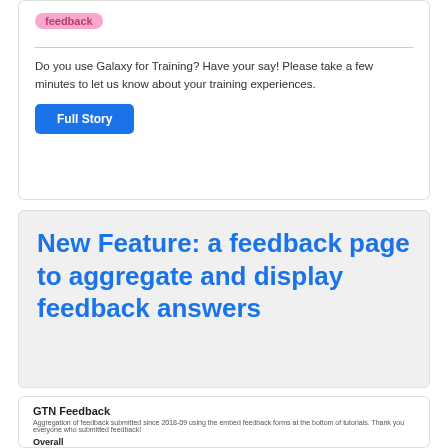feedback
Do you use Galaxy for Training? Have your say! Please take a few minutes to let us know about your training experiences.
Full Story
New Feature: a feedback page to aggregate and display feedback answers
[Figure (screenshot): GTN Feedback page screenshot showing 'GTN Feedback', aggregation subtitle, 'Overall' section with '1321 responses' and 'Rating Distribution']